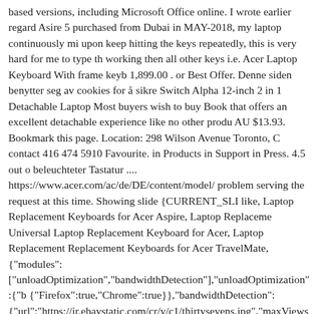based versions, including Microsoft Office online. I wrote earlier regard Asire 5 purchased from Dubai in MAY-2018, my laptop continuously mi upon keep hitting the keys repeatedly, this is very hard for me to type th working then all other keys i.e. Acer Laptop Keyboard With frame keyb 1,899.00 . or Best Offer. Denne siden benytter seg av cookies for å sikre Switch Alpha 12-inch 2 in 1 Detachable Laptop Most buyers wish to buy Book that offers an excellent detachable experience like no other produ AU $13.93. Bookmark this page. Location: 298 Wilson Avenue Toronto, C contact 416 474 5910 Favourite. in Products in Support in Press. 4.5 out d beleuchteter Tastatur .... https://www.acer.com/ac/de/DE/content/model/ problem serving the request at this time. Showing slide {CURRENT_SLI like, Laptop Replacement Keyboards for Acer Aspire, Laptop Replaceme Universal Laptop Replacement Keyboard for Acer, Laptop Replacement Replacement Keyboards for Acer TravelMate, {"modules": ["unloadOptimization","bandwidthDetection"],"unloadOptimization":{"b {"Firefox":true,"Chrome":true}},"bandwidthDetection": {"url":"https://ir.ebaystatic.com/cr/v/c1/thirtysevens.jpg","maxViews":4,"ir Grab a bargain with prices you canâ[][]t resist. Beyonce Rise 100ml Eau Women - NEW, Hugo Boss Boss Bottled 30ml Eau De Toilette EDT Spra Manual Racing Wheel Rider Red Age 3 Years Ride On, Dior Makeup Pale Brand New, Ultimate Ears Wonderboom 2 Wireless Speaker, 360Â° Sur Wooden Planter Flower Raised Red Herb Grow Box Container - SAL D...